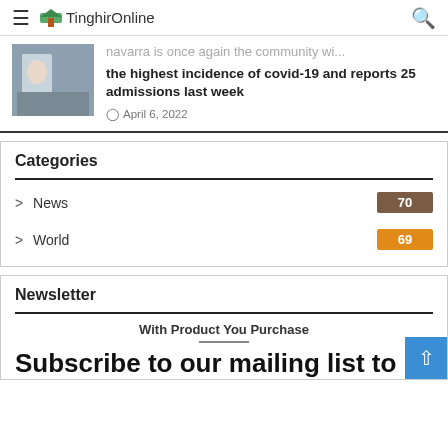TinghirOnline
navarra is once again the community with the highest incidence of covid-19 and reports 25 admissions last week
April 6, 2022
Categories
News 70
World 69
Newsletter
With Product You Purchase
Subscribe to our mailing list to